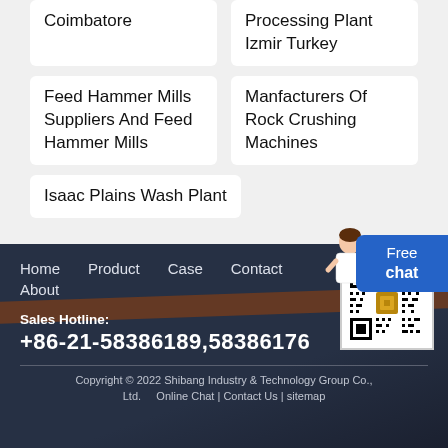Coimbatore
Processing Plant Izmir Turkey
Feed Hammer Mills Suppliers And Feed Hammer Mills
Manfacturers Of Rock Crushing Machines
Isaac Plains Wash Plant
Free chat
Home  Product  Case  Contact  About
Sales Hotline: +86-21-58386189,58386176
Copyright © 2022 Shibang Industry & Technology Group Co., Ltd.  Online Chat | Contact Us | sitemap